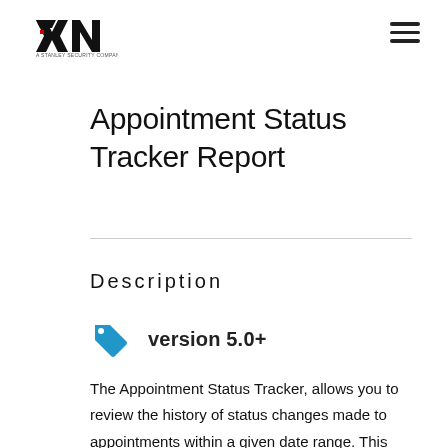EXN — A Stanley Security Company (logo) | hamburger menu
Appointment Status Tracker Report
Description
version 5.0+
The Appointment Status Tracker, allows you to review the history of status changes made to appointments within a given date range. This will help you identify when the